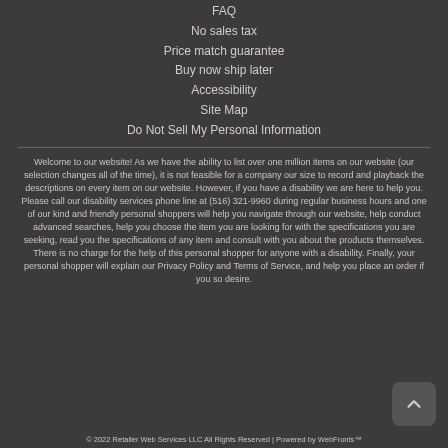FAQ
No sales tax
Price match guarantee
Buy now ship later
Accessibility
Site Map
Do Not Sell My Personal Information
Welcome to our website! As we have the ability to list over one million items on our website (our selection changes all of the time), it is not feasible for a company our size to record and playback the descriptions on every item on our website. However, if you have a disability we are here to help you. Please call our disability services phone line at (516) 321-9960 during regular business hours and one of our kind and friendly personal shoppers will help you navigate through our website, help conduct advanced searches, help you choose the item you are looking for with the specifications you are seeking, read you the specifications of any item and consult with you about the products themselves. There is no charge for the help of this personal shopper for anyone with a disability. Finally, your personal shopper will explain our Privacy Policy and Terms of Service, and help you place an order if you so desire.
© 2022 Retailer Web Services LLC All Rights Reserved | Powered by WebFronts™